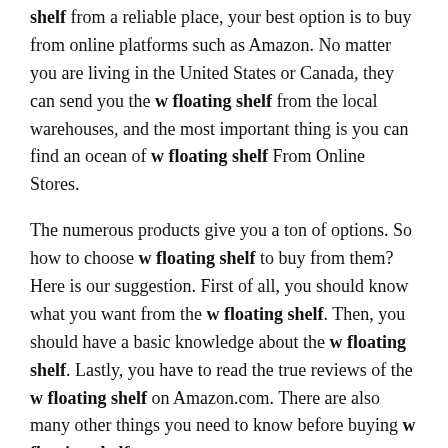shelf from a reliable place, your best option is to buy from online platforms such as Amazon. No matter you are living in the United States or Canada, they can send you the w floating shelf from the local warehouses, and the most important thing is you can find an ocean of w floating shelf From Online Stores.
The numerous products give you a ton of options. So how to choose w floating shelf to buy from them? Here is our suggestion. First of all, you should know what you want from the w floating shelf. Then, you should have a basic knowledge about the w floating shelf. Lastly, you have to read the true reviews of the w floating shelf on Amazon.com. There are also many other things you need to know before buying w floating shelf:
1. Is there a reliable brand to buy w floating shelf?